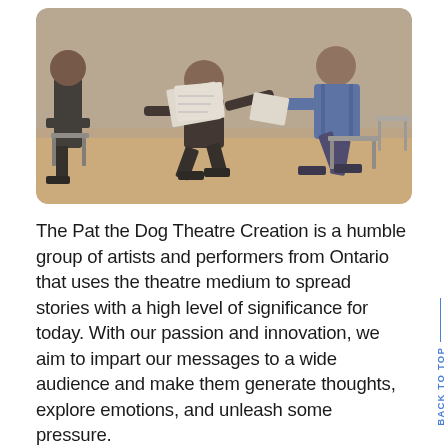[Figure (photo): Theatre performers in a studio/rehearsal space; one person seated on a chair, another crouching and reaching out holding papers, a third person seated to the left. Warm wooden floor, chairs visible.]
The Pat the Dog Theatre Creation is a humble group of artists and performers from Ontario that uses the theatre medium to spread stories with a high level of significance for today. With our passion and innovation, we aim to impart our messages to a wide audience and make them generate thoughts, explore emotions, and unleash some pressure.
The Pat the Dog Theatre Creation shows great devotion in helping the Canadian theatre scene by